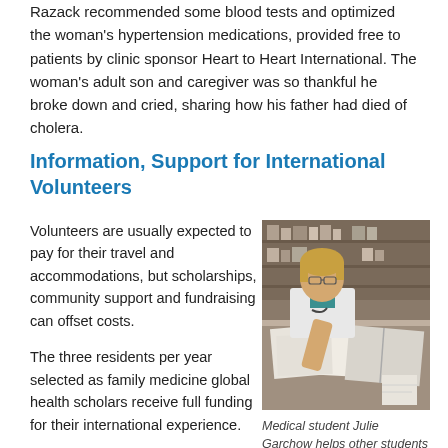Razack recommended some blood tests and optimized the woman's hypertension medications, provided free to patients by clinic sponsor Heart to Heart International. The woman's adult son and caregiver was so thankful he broke down and cried, sharing how his father had died of cholera.
Information, Support for International Volunteers
Volunteers are usually expected to pay for their travel and accommodations, but scholarships, community support and fundraising can offset costs.
The three residents per year selected as family medicine global health scholars receive full funding for their international experience.
UB's International Health Interest Group strives to make it as easy as possible for medical students to do global
[Figure (photo): Medical student Julie Garchow sitting at a desk writing, in a library setting, wearing a white coat]
Medical student Julie Garchow helps other students learn about international volunteer